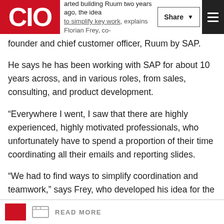CIO | ...arted building Ruum two years ago, the idea to simplify key work, explains Florian Frey, co-founder and chief customer officer, Ruum by SAP.
He says he has been working with SAP for about 10 years across, and in various roles, from sales, consulting, and product development.
“Everywhere I went, I saw that there are highly experienced, highly motivated professionals, who unfortunately have to spend a proportion of their time coordinating all their emails and reporting slides.
“We had to find ways to simplify coordination and teamwork,” says Frey, who developed his idea for the software through SAP’s internal acceleration programme.
READ MORE